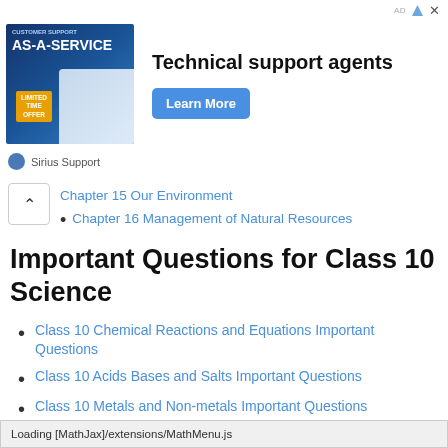[Figure (screenshot): Advertisement banner for 'AS-A-SERVICE' technical support agents with 'Learn More' button, sponsored by Sirius Support]
Chapter 15 Our Environment
Chapter 16 Management of Natural Resources
Important Questions for Class 10 Science
Class 10 Chemical Reactions and Equations Important Questions
Class 10 Acids Bases and Salts Important Questions
Class 10 Metals and Non-metals Important Questions
Class 10 Carbon and its Compounds Important
Loading [MathJax]/extensions/MathMenu.js